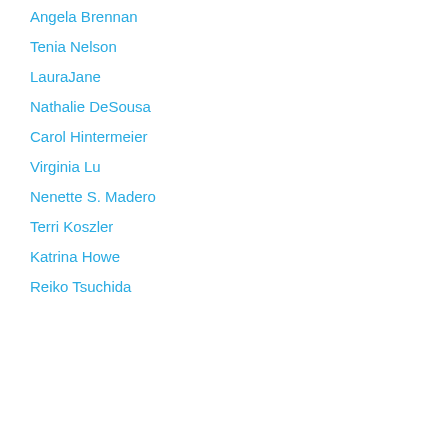Angela Brennan
Tenia Nelson
LauraJane
Nathalie DeSousa
Carol Hintermeier
Virginia Lu
Nenette S. Madero
Terri Koszler
Katrina Howe
Reiko Tsuchida